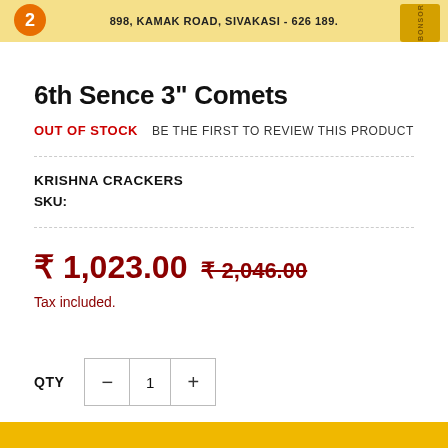[Figure (photo): Product image header showing an orange circle logo, address text '898, KAMAK ROAD, SIVAKASI - 626 189.' on a golden/yellow background with a stamp on the right]
6th Sence 3" Comets
OUT OF STOCK   BE THE FIRST TO REVIEW THIS PRODUCT
KRISHNA CRACKERS
SKU:
₹ 1,023.00  ₹ 2,046.00
Tax included.
QTY  −  1  +